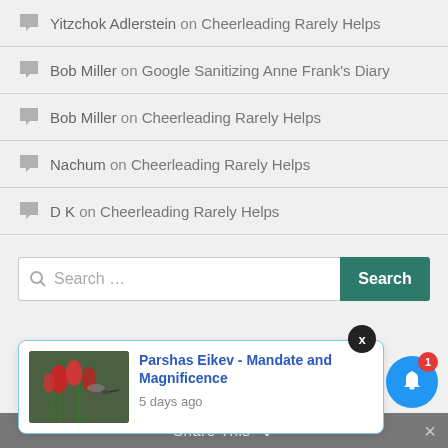Yitzchok Adlerstein on Cheerleading Rarely Helps
Bob Miller on Google Sanitizing Anne Frank's Diary
Bob Miller on Cheerleading Rarely Helps
Nachum on Cheerleading Rarely Helps
D K on Cheerleading Rarely Helps
Search ...
[Figure (screenshot): Notification popup with image of red flowers and hummingbird, title 'Parshas Eikev - Mandate and Magnificence', '5 days ago']
Share This
[Figure (other): Blue bell notification button with red badge showing '1']